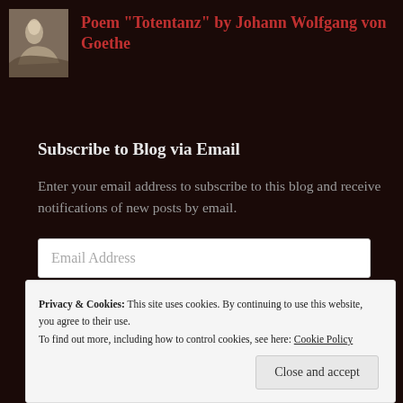[Figure (illustration): Small thumbnail painting of a reclining figure in classical dress, used as a blog post image]
Poem "Totentanz" by Johann Wolfgang von Goethe
Subscribe to Blog via Email
Enter your email address to subscribe to this blog and receive notifications of new posts by email.
Email Address
Subscribe
Privacy & Cookies: This site uses cookies. By continuing to use this website, you agree to their use. To find out more, including how to control cookies, see here: Cookie Policy
Close and accept